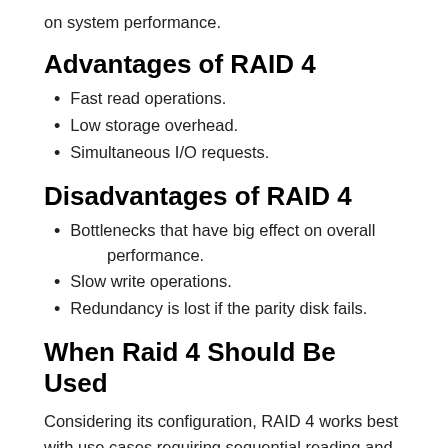on system performance.
Advantages of RAID 4
Fast read operations.
Low storage overhead.
Simultaneous I/O requests.
Disadvantages of RAID 4
Bottlenecks that have big effect on overall performance.
Slow write operations.
Redundancy is lost if the parity disk fails.
When Raid 4 Should Be Used
Considering its configuration, RAID 4 works best with use cases requiring sequential reading and writing data processes of huge files. Still, just like